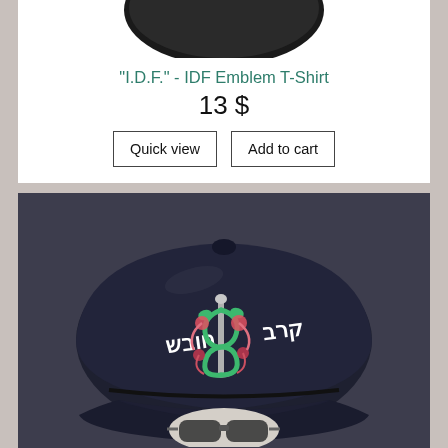[Figure (photo): Partial top view of a dark hat product, cropped at top of page]
"I.D.F." - IDF Emblem T-Shirt
13 $
Quick view
Add to cart
[Figure (photo): Dark navy baseball cap worn on a mannequin head with sunglasses. Cap has Hebrew text and a medical caduceus emblem embroidered on it in white, green, and red/pink colors.]